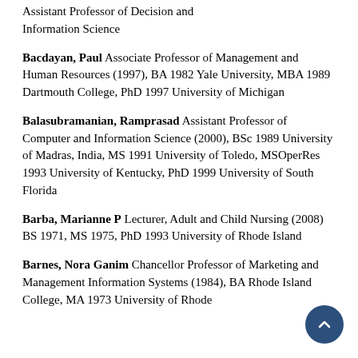Assistant Professor of Decision and Information Science
Bacdayan, Paul Associate Professor of Management and Human Resources (1997), BA 1982 Yale University, MBA 1989 Dartmouth College, PhD 1997 University of Michigan
Balasubramanian, Ramprasad Assistant Professor of Computer and Information Science (2000), BSc 1989 University of Madras, India, MS 1991 University of Toledo, MSOperRes 1993 University of Kentucky, PhD 1999 University of South Florida
Barba, Marianne P Lecturer, Adult and Child Nursing (2008) BS 1971, MS 1975, PhD 1993 University of Rhode Island
Barnes, Nora Ganim Chancellor Professor of Marketing and Management Information Systems (1984), BA Rhode Island College, MA 1973 University of Rhode